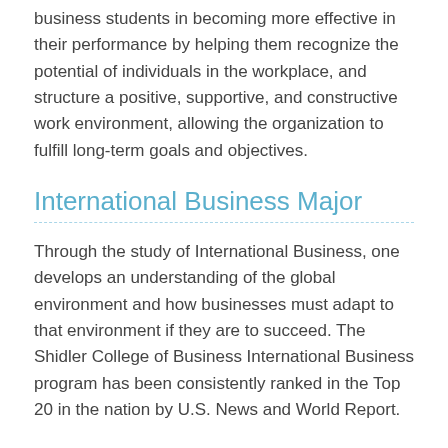business students in becoming more effective in their performance by helping them recognize the potential of individuals in the workplace, and structure a positive, supportive, and constructive work environment, allowing the organization to fulfill long-term goals and objectives.
International Business Major
Through the study of International Business, one develops an understanding of the global environment and how businesses must adapt to that environment if they are to succeed. The Shidler College of Business International Business program has been consistently ranked in the Top 20 in the nation by U.S. News and World Report.
Management Major